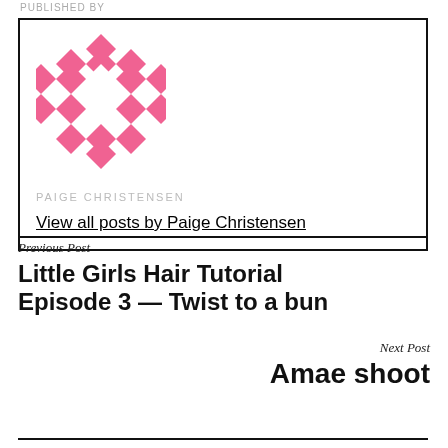PUBLISHED BY
[Figure (logo): Pink geometric diamond/quilt pattern logo for Paige Christensen]
PAIGE CHRISTENSEN
View all posts by Paige Christensen
Previous Post
Little Girls Hair Tutorial Episode 3 — Twist to a bun
Next Post
Amae shoot